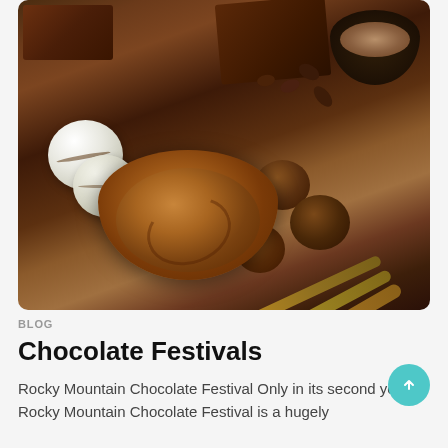[Figure (photo): Overhead shot of chocolate varieties including chocolate bars, white chocolate balls with dark drizzle, a bowl of melted chocolate sauce, cocoa truffles, cinnamon sticks, cocoa beans, and a bowl of cocoa powder on a dark background.]
BLOG
Chocolate Festivals
Rocky Mountain Chocolate Festival Only in its second year, Rocky Mountain Chocolate Festival is a hugely